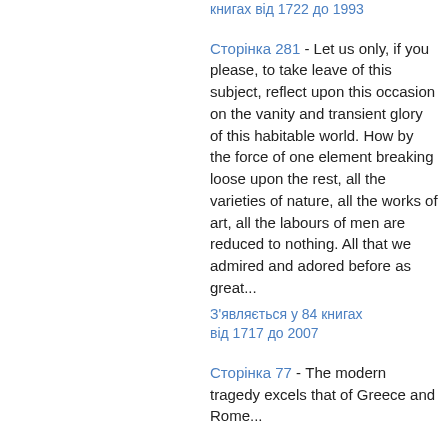книгах від 1722 до 1993
Сторінка 281 - Let us only, if you please, to take leave of this subject, reflect upon this occasion on the vanity and transient glory of this habitable world. How by the force of one element breaking loose upon the rest, all the varieties of nature, all the works of art, all the labours of men are reduced to nothing. All that we admired and adored before as great...
З'являється у 84 книгах від 1717 до 2007
Сторінка 77 - The modern tragedy excels that of Greece and Rome...